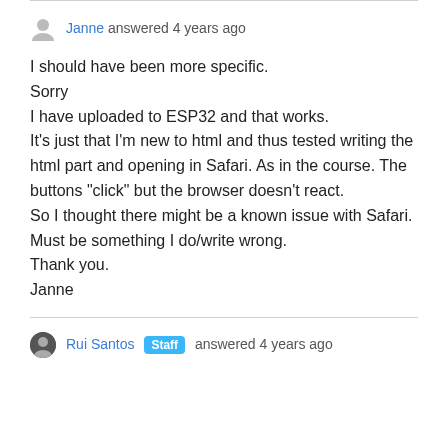Janne answered 4 years ago
I should have been more specific.
Sorry
I have uploaded to ESP32 and that works.
It's just that I'm new to html and thus tested writing the html part and opening in Safari. As in the course. The buttons "click" but the browser doesn't react.
So I thought there might be a known issue with Safari.
Must be something I do/write wrong.
Thank you.
Janne
Rui Santos Staff answered 4 years ago